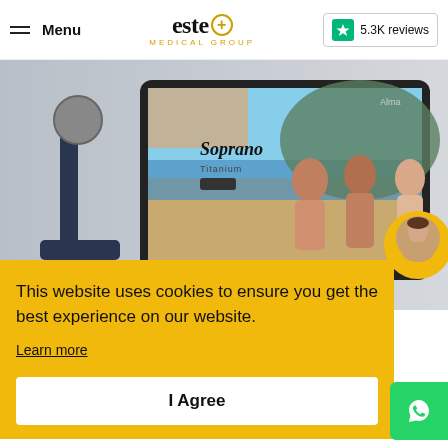Menu | este+ MEDICAL GROUP | 5.3K reviews
[Figure (screenshot): Hero image showing a medical laser device (Soprano Titanium by Alma) with a tablet display showing women on a beach, representing hair removal treatment]
This website uses cookies to ensure you get the best experience on our website.
Learn more
I Agree